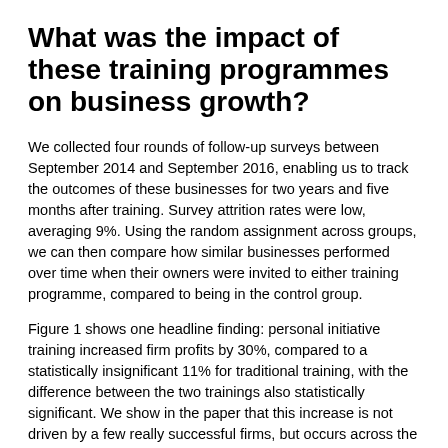What was the impact of these training programmes on business growth?
We collected four rounds of follow-up surveys between September 2014 and September 2016, enabling us to track the outcomes of these businesses for two years and five months after training. Survey attrition rates were low, averaging 9%. Using the random assignment across groups, we can then compare how similar businesses performed over time when their owners were invited to either training programme, compared to being in the control group.
Figure 1 shows one headline finding: personal initiative training increased firm profits by 30%, compared to a statistically insignificant 11% for traditional training, with the difference between the two trainings also statistically significant. We show in the paper that this increase is not driven by a few really successful firms, but occurs across the distribution. Firms taking part in personal initiative training also have a 17% increase in monthly sales compared to the control group.